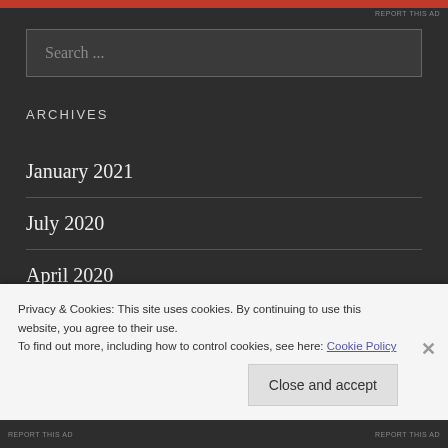REPORT THIS AD
Search ...
ARCHIVES
January 2021
July 2020
April 2020
Privacy & Cookies: This site uses cookies. By continuing to use this website, you agree to their use.
To find out more, including how to control cookies, see here: Cookie Policy
Close and accept